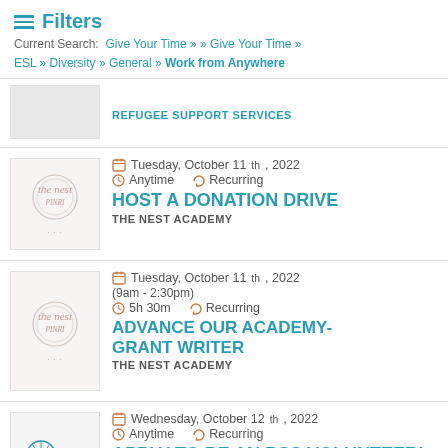Filters — Current Search: Give Your Time » » Give Your Time » ESL » Diversity » General » Work from Anywhere
REFUGEE SUPPORT SERVICES
Tuesday, October 11th, 2022 | Anytime | Recurring | HOST A DONATION DRIVE | THE NEST ACADEMY
Tuesday, October 11th, 2022 | (9am - 2:30pm) | 5h 30m | Recurring | ADVANCE OUR ACADEMY- GRANT WRITER | THE NEST ACADEMY
Wednesday, October 12th, 2022 | Anytime | Recurring | Apply to be an RSS volunteer!